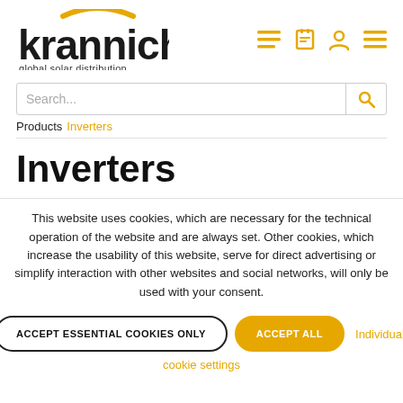[Figure (logo): Krannich Solar logo with yellow arc above 'krannich' text and tagline 'global solar distribution']
krannich global solar distribution
Search...
Products  Inverters
Inverters
This website uses cookies, which are necessary for the technical operation of the website and are always set. Other cookies, which increase the usability of this website, serve for direct advertising or simplify interaction with other websites and social networks, will only be used with your consent.
ACCEPT ESSENTIAL COOKIES ONLY   ACCEPT ALL   Individual
cookie settings